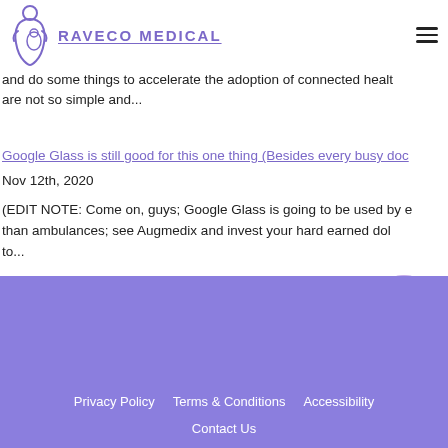[Figure (logo): Graveco Medical logo with purple pregnant woman icon and text GRAVECO MEDICAL underlined]
and do some things to accelerate the adoption of connected healt are not so simple and...
Google Glass is still good for this one thing (Besides every busy doc Nov 12th, 2020
(EDIT NOTE: Come on, guys; Google Glass is going to be used by e than ambulances; see Augmedix and invest your hard earned dol to...
Privacy Policy   Terms & Conditions   Accessibility   Contact Us